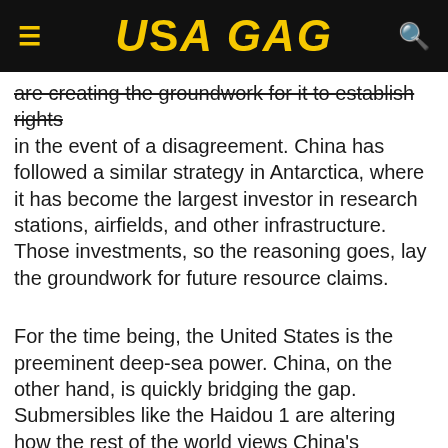USA GAG
are creating the groundwork for it to establish rights in the event of a disagreement. China has followed a similar strategy in Antarctica, where it has become the largest investor in research stations, airfields, and other infrastructure. Those investments, so the reasoning goes, lay the groundwork for future resource claims.
For the time being, the United States is the preeminent deep-sea power. China, on the other hand, is quickly bridging the gap. Submersibles like the Haidou 1 are altering how the rest of the world views China's maritime capabilities. That is precisely the aim for the government, and it wants its expanding navy and commercial fleet to transform perception into reality in the coming years. This trend